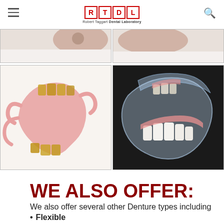RTDL Robert Taggart Dental Laboratory
[Figure (photo): Two cropped dental prosthetic photos in a top row, partially visible]
[Figure (photo): Bottom left: pink flexible partial denture with yellow-tinted teeth and clasps]
[Figure (photo): Bottom right: clear/transparent flexible partial denture with pink gum and white teeth]
WE ALSO OFFER:
We also offer several other Denture types including
Flexible